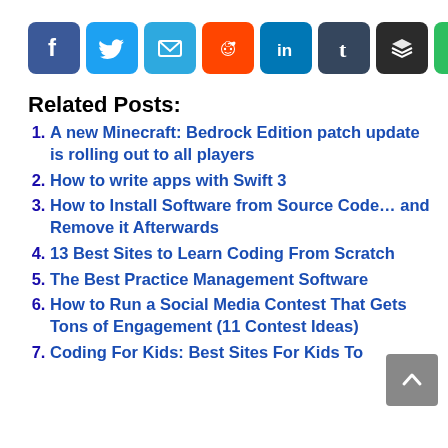[Figure (infographic): Social sharing icon bar with icons for Facebook, Twitter, Email, Reddit, LinkedIn, Tumblr, Buffer, Evernote, and Share]
Related Posts:
A new Minecraft: Bedrock Edition patch update is rolling out to all players
How to write apps with Swift 3
How to Install Software from Source Code... and Remove it Afterwards
13 Best Sites to Learn Coding From Scratch
The Best Practice Management Software
How to Run a Social Media Contest That Gets Tons of Engagement (11 Contest Ideas)
Coding For Kids: Best Sites For Kids To